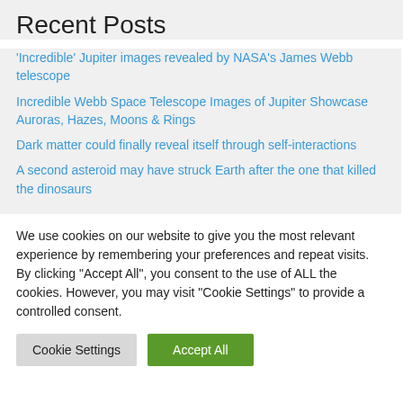Recent Posts
'Incredible' Jupiter images revealed by NASA's James Webb telescope
Incredible Webb Space Telescope Images of Jupiter Showcase Auroras, Hazes, Moons & Rings
Dark matter could finally reveal itself through self-interactions
A second asteroid may have struck Earth after the one that killed the dinosaurs
We use cookies on our website to give you the most relevant experience by remembering your preferences and repeat visits. By clicking "Accept All", you consent to the use of ALL the cookies. However, you may visit "Cookie Settings" to provide a controlled consent.